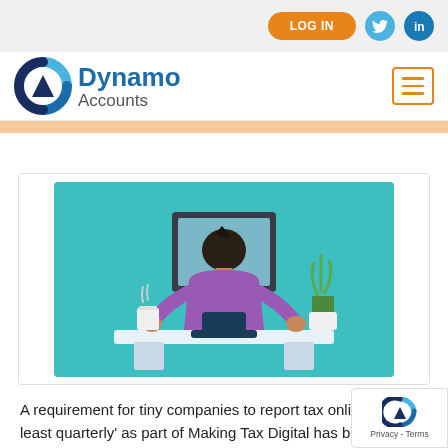LOG IN
[Figure (logo): Dynamo Accounts logo with circular pie-chart icon in blue and dark navy]
[Figure (illustration): Flat vector illustration of a person seen from behind sitting at a desk with a computer monitor, a potted plant, and a cup on a teal background]
A requirement for tiny companies to report tax online 'at least quarterly' as part of Making Tax Digital has been put